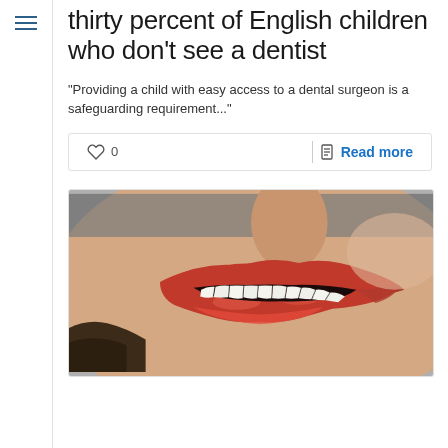≡ (navigation menu icon)
thirty percent of English children who don't see a dentist
"Providing a child with easy access to a dental surgeon is a safeguarding requirement..."
♡ 0  |  Read more
[Figure (photo): Close-up photo of a woman smiling with bright white teeth and red lipstick]